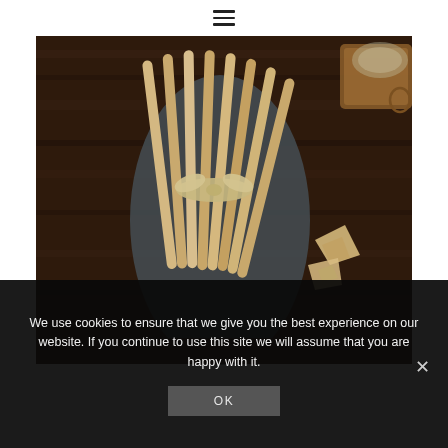[Figure (photo): Breadsticks tied with twine on a dark cloth over a wooden surface, with pieces of bread and a wooden board in the background]
We use cookies to ensure that we give you the best experience on our website. If you continue to use this site we will assume that you are happy with it.
OK